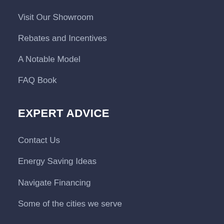Visit Our Showroom
Rebates and Incentives
A Notable Model
FAQ Book
EXPERT ADVICE
Contact Us
Energy Saving Ideas
Navigate Financing
Some of the cities we serve
HVAC INFO
Blue Hawk